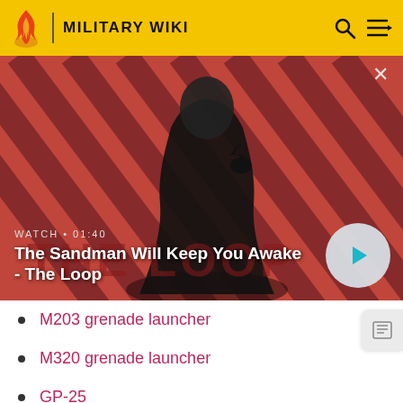MILITARY WIKI
[Figure (screenshot): Video thumbnail showing a dark-clothed person with a raven on their shoulder against a red diagonal-striped background. Title card reads 'The Sandman Will Keep You Awake - The Loop'. Duration shown as 01:40.]
M203 grenade launcher
M320 grenade launcher
GP-25
Heckler & Koch AG-C/GLM